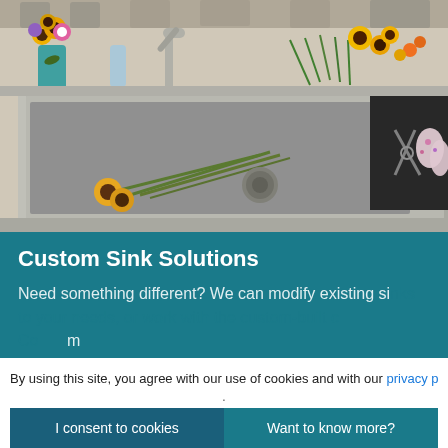[Figure (photo): Overhead view of a large stainless steel kitchen sink on a white countertop. Sunflowers in a teal vase, a faucet, and cut flowers are visible. Inside the sink are sunflowers with long green stems. To the right of the sink on a black cutting board are scissors and floral gardening gloves.]
Custom Sink Solutions
Need something different? We can modify existing sinks to your needs, or work with custom-built c... m... m... ti...
By using this site, you agree with our use of cookies and with our privacy po...
I consent to cookies
Want to know more?